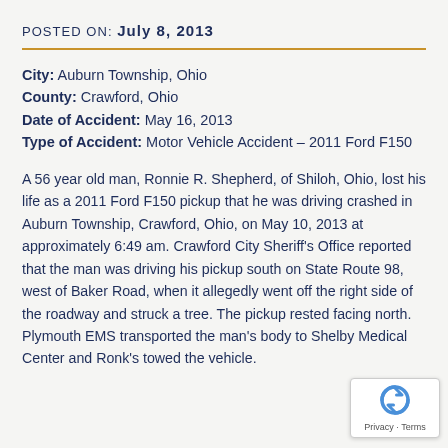POSTED ON: July 8, 2013
City: Auburn Township, Ohio
County: Crawford, Ohio
Date of Accident: May 16, 2013
Type of Accident: Motor Vehicle Accident – 2011 Ford F150
A 56 year old man, Ronnie R. Shepherd, of Shiloh, Ohio, lost his life as a 2011 Ford F150 pickup that he was driving crashed in Auburn Township, Crawford, Ohio, on May 10, 2013 at approximately 6:49 am. Crawford City Sheriff's Office reported that the man was driving his pickup south on State Route 98, west of Baker Road, when it allegedly went off the right side of the roadway and struck a tree. The pickup rested facing north. Plymouth EMS transported the man's body to Shelby Medical Center and Ronk's towed the vehicle.